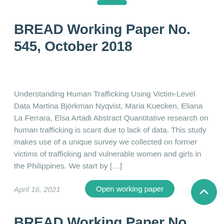BREAD Working Paper No. 545, October 2018
Understanding Human Trafficking Using Victim-Level Data Martina Björkman Nyqvist, Maria Kuecken, Eliana La Ferrara, Elsa Artadi Abstract Quantitative research on human trafficking is scant due to lack of data. This study makes use of a unique survey we collected on former victims of trafficking and vulnerable women and girls in the Philippines. We start by [...]
April 16, 2021
BREAD Working Paper No. 540